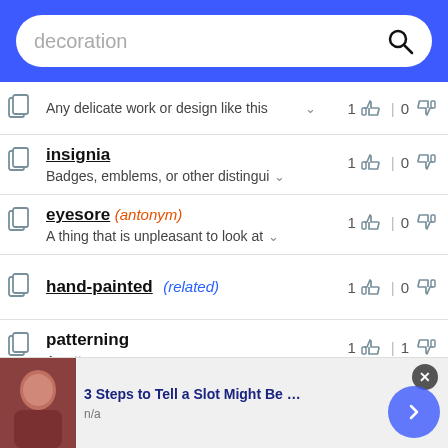decoration (search bar)
Any delicate work or design like this — 1 like, 0 dislikes
insignia — Badges, emblems, or other distingui... — 1 like, 0 dislikes
eyesore (antonym) — A thing that is unpleasant to look at — 1 like, 0 dislikes
hand-painted (related) — 1 like, 0 dislikes
patterning — A pattern — 1 like, 1 dislike
illumination — The definition of an illumination is th... — 1 like, 1 dislike
[Figure (screenshot): Footer advertisement: photo of a man, text '3 Steps to Tell a Slot Might Be Close to', n/a, close button, arrow button]